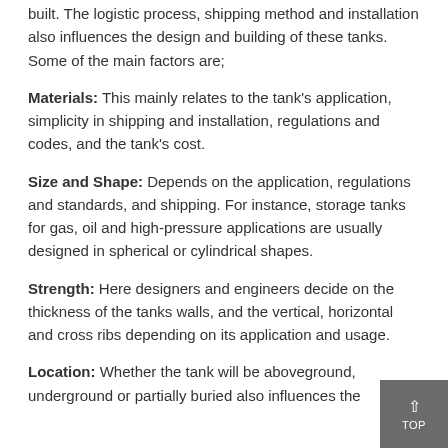built. The logistic process, shipping method and installation also influences the design and building of these tanks. Some of the main factors are;
Materials: This mainly relates to the tank's application, simplicity in shipping and installation, regulations and codes, and the tank's cost.
Size and Shape: Depends on the application, regulations and standards, and shipping. For instance, storage tanks for gas, oil and high-pressure applications are usually designed in spherical or cylindrical shapes.
Strength: Here designers and engineers decide on the thickness of the tanks walls, and the vertical, horizontal and cross ribs depending on its application and usage.
Location: Whether the tank will be aboveground, underground or partially buried also influences the